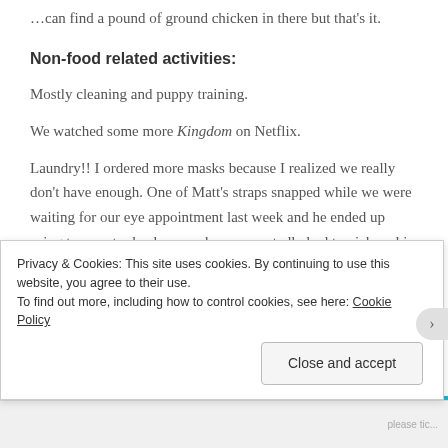…can find a pound of ground chicken in there but that's it.
Non-food related activities:
Mostly cleaning and puppy training.
We watched some more Kingdom on Netflix.
Laundry!! I ordered more masks because I realized we really don't have enough. One of Matt's straps snapped while we were waiting for our eye appointment last week and he ended up using two yesterday because he unexpectedly had to pick up his prescription in person it's something something something something something
Privacy & Cookies: This site uses cookies. By continuing to use this website, you agree to their use.
To find out more, including how to control cookies, see here: Cookie Policy
Close and accept